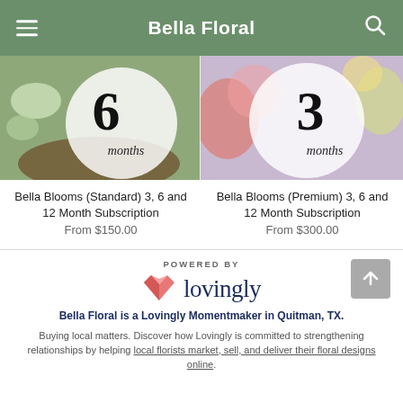Bella Floral
[Figure (photo): Product image showing '6 months' text overlay on floral arrangement]
[Figure (photo): Product image showing '3 months' text overlay on floral arrangement]
Bella Blooms (Standard) 3, 6 and 12 Month Subscription
From $150.00
Bella Blooms (Premium) 3, 6 and 12 Month Subscription
From $300.00
POWERED BY
[Figure (logo): Lovingly logo with pink heart/book icon and 'lovingly' text in dark navy]
Bella Floral is a Lovingly Momentmaker in Quitman, TX.
Buying local matters. Discover how Lovingly is committed to strengthening relationships by helping local florists market, sell, and deliver their floral designs online.